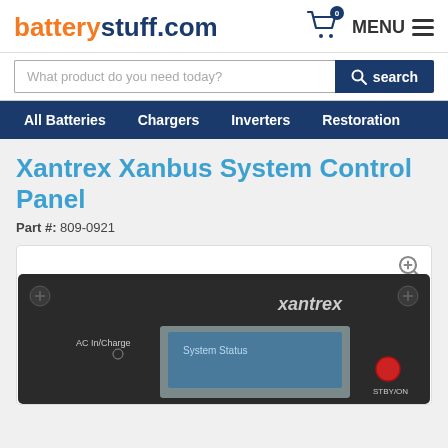batterystuff.com
What product do you need today?
Xantrex Xanbus System Control Panel
Part #: 809-0921
[Figure (photo): Photo of Xantrex Xanbus System Control Panel device, showing a dark control panel with xantrex branding, AC In/Charge label, System Status display screen, and STBY/ON button.]